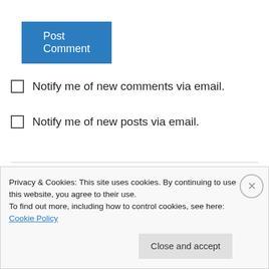Post Comment
Notify me of new comments via email.
Notify me of new posts via email.
Julie Komenda on November 24, 2011 at 8:33 PM
When you care enough to send the very best, only Merqueens a la the Mertailor will do!! The
Privacy & Cookies: This site uses cookies. By continuing to use this website, you agree to their use.
To find out more, including how to control cookies, see here: Cookie Policy
Close and accept